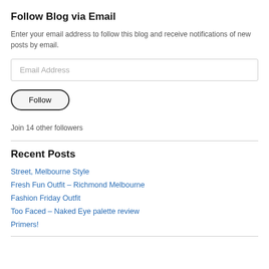Follow Blog via Email
Enter your email address to follow this blog and receive notifications of new posts by email.
Email Address
Follow
Join 14 other followers
Recent Posts
Street, Melbourne Style
Fresh Fun Outfit – Richmond Melbourne
Fashion Friday Outfit
Too Faced – Naked Eye palette review
Primers!